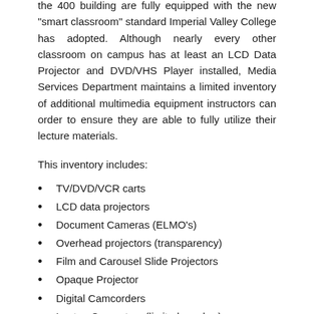the 400 building are fully equipped with the new "smart classroom" standard Imperial Valley College has adopted. Although nearly every other classroom on campus has at least an LCD Data Projector and DVD/VHS Player installed, Media Services Department maintains a limited inventory of additional multimedia equipment instructors can order to ensure they are able to fully utilize their lecture materials.
This inventory includes:
TV/DVD/VCR carts
LCD data projectors
Document Cameras (ELMO's)
Overhead projectors (transparency)
Film and Carousel Slide Projectors
Opaque Projector
Digital Camcorders
Laptop Computers (limited number)